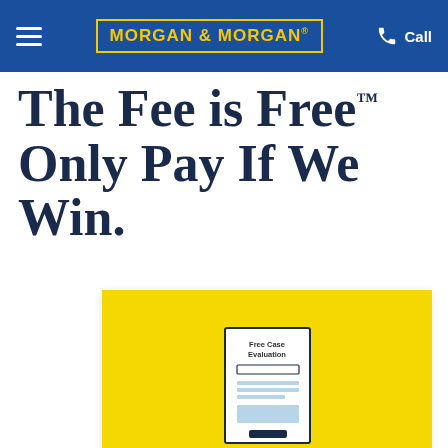MORGAN & MORGAN | Call
The Fee is Free™ Only Pay If We Win.
[Figure (illustration): Step 1 indicator with large dark numeral '1' and a bullet dot above it, alongside a yellow card containing a 'Free Case Evaluation' form icon]
Submit a Free Case Evaluation
You can find out if you qualify immediately.